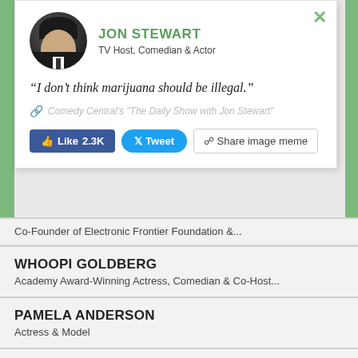JON STEWART
TV Host, Comedian & Actor
“I don’t think marijuana should be illegal.”
Comedy Central's "The Daily Show with Jon Stewart"
Co-Founder of Electronic Frontier Foundation &...
WHOOPI GOLDBERG
Academy Award-Winning Actress, Comedian & Co-Host...
PAMELA ANDERSON
Actress & Model
WALTER CRONKITE
Former Anchor of CBS Evening News
NEAL PEIRCE